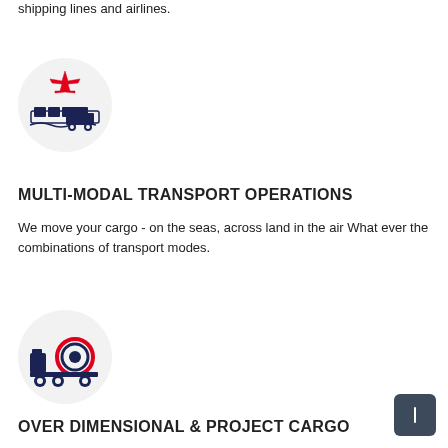shipping lines and airlines.
[Figure (illustration): Icon of multi-modal transport: airplane above shipping containers on a vessel and a truck, inside a light grey circle]
MULTI-MODAL TRANSPORT OPERATIONS
We move your cargo - on the seas, across land in the air What ever the combinations of transport modes.
[Figure (illustration): Icon of a tanker truck with a large circular cargo tank highlighted in red and dark blue, inside a light grey circle]
OVER DIMENSIONAL & PROJECT CARGO